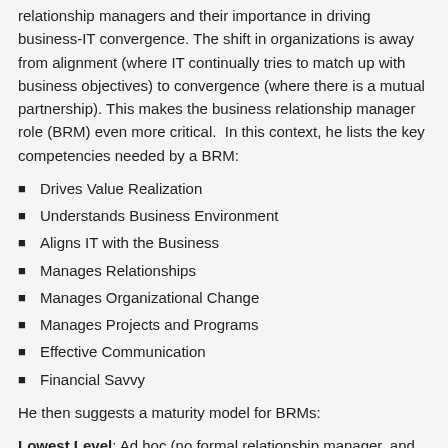relationship managers and their importance in driving business-IT convergence. The shift in organizations is away from alignment (where IT continually tries to match up with business objectives) to convergence (where there is a mutual partnership). This makes the business relationship manager role (BRM) even more critical. In this context, he lists the key competencies needed by a BRM:
Drives Value Realization
Understands Business Environment
Aligns IT with the Business
Manages Relationships
Manages Organizational Change
Manages Projects and Programs
Effective Communication
Financial Savvy
He then suggests a maturity model for BRMs:
Lowest Level: Ad hoc (no formal relationship manager, and issues are resolved by the most demanding business partner getting the attention. There are no c…
Order Taker: IT uses the BRM to fix the supply of IT services, making t…